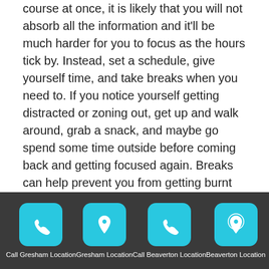course at once, it is likely that you will not absorb all the information and it'll be much harder for you to focus as the hours tick by. Instead, set a schedule, give yourself time, and take breaks when you need to. If you notice yourself getting distracted or zoning out, get up and walk around, grab a snack, and maybe go spend some time outside before coming back and getting focused again. Breaks can help prevent you from getting burnt out and feeling drained.
FOCUS ON THE REWARD
Similar to setting goals, focusing on the reward can help you stay focused and know what you are working towards. Online courses, as well as in-person courses, are not always thrilling, but when you keep the reward in mind it
Call Gresham Location | Gresham Location | Call Beaverton Location | Beaverton Location